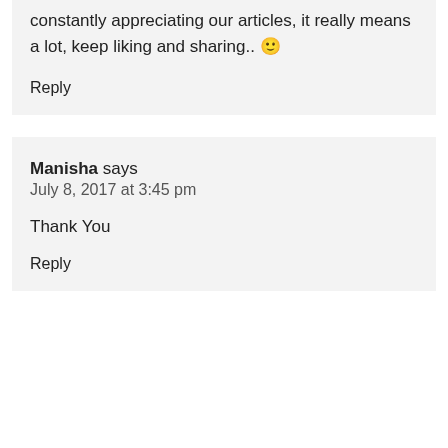constantly appreciating our articles, it really means a lot, keep liking and sharing.. 🙂
Reply
Manisha says
July 8, 2017 at 3:45 pm
Thank You
Reply